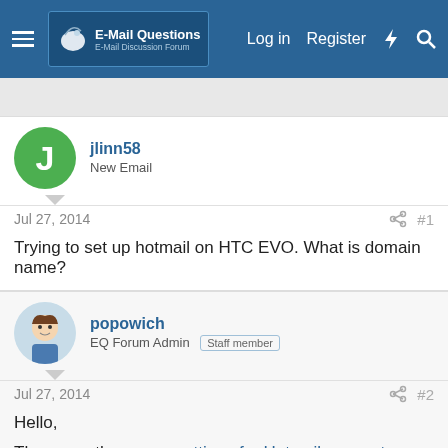E-Mail Questions | Log in | Register
jlinn58
New Email
Jul 27, 2014  #1
Trying to set up hotmail on HTC EVO. What is domain name?
popowich
EQ Forum Admin  Staff member
Jul 27, 2014  #2
Hello,

These are the server settings for Hotmail accounts